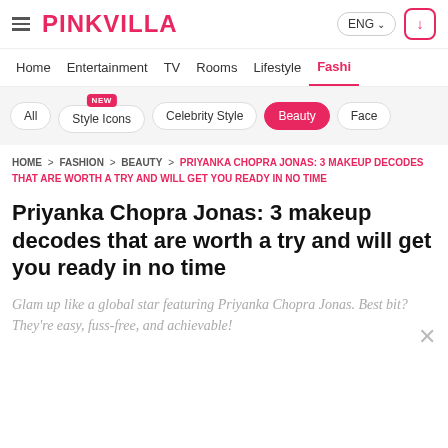PINKVILLA | ENG | Download
Home | Entertainment | TV | Rooms | Lifestyle | Fashion
All | Style Icons [NEW] | Celebrity Style | Beauty | Faced
HOME > FASHION > BEAUTY > PRIYANKA CHOPRA JONAS: 3 MAKEUP DECODES THAT ARE WORTH A TRY AND WILL GET YOU READY IN NO TIME
Priyanka Chopra Jonas: 3 makeup decodes that are worth a try and will get you ready in no time
Glam up like a global star featuring Priyanka Chopra Jonas. Best bit? They're easy, fuss-free, and achievable!